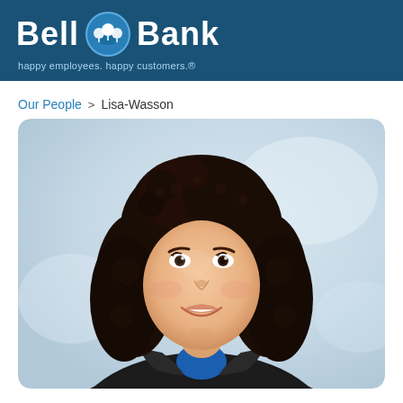Bell Bank — happy employees. happy customers.®
Our People > Lisa-Wasson
[Figure (photo): Professional headshot of Lisa Wasson, a woman with dark curly hair, smiling, wearing a dark blazer over a blue top, against a soft light background.]